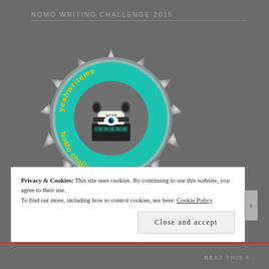NOMO WRITING CHALLENGE 2015
[Figure (illustration): A metallic sun-burst badge with spiky silver points around the edge. In the center is a teal/cyan circular ring with yellow text reading 'yeahwriteme' on top and 'NoMo challenge' on the bottom. Inside the ring is a vintage typewriter illustration with a banner reading '2015'.]
Privacy & Cookies: This site uses cookies. By continuing to use this website, you agree to their use.
To find out more, including how to control cookies, see here: Cookie Policy
Close and accept